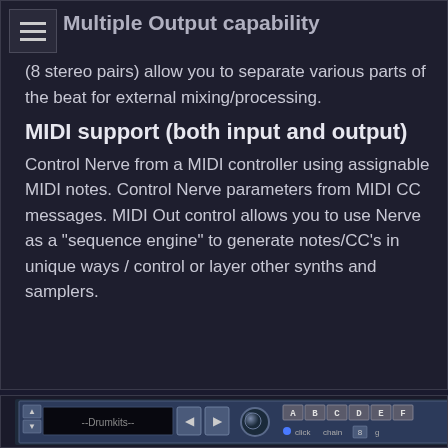Multiple Output capability
(8 stereo pairs) allow you to separate various parts of the beat for external mixing/processing.
MIDI support (both input and output)
Control Nerve from a MIDI controller using assignable MIDI notes. Control Nerve parameters from MIDI CC messages. MIDI Out control allows you to use Nerve as a “sequence engine” to generate notes/CC’s in unique ways / control or layer other synths and samplers.
[Figure (screenshot): Screenshot of a drum machine plugin interface showing a Drumkits selector, navigation arrows, a knob, and letter buttons A B C D E F with click/chain controls.]